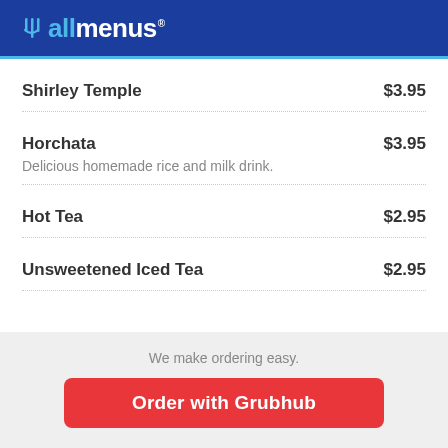allmenus
Shirley Temple  $3.95
Horchata  $3.95
Delicious homemade rice and milk drink.
Hot Tea  $2.95
Unsweetened Iced Tea  $2.95
We make ordering easy.
Order with Grubhub